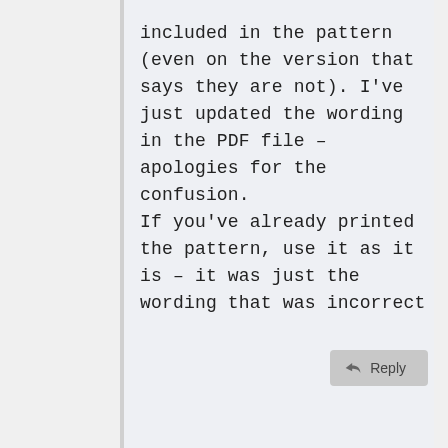included in the pattern (even on the version that says they are not). I've just updated the wording in the PDF file – apologies for the confusion. If you've already printed the pattern, use it as it is – it was just the wording that was incorrect